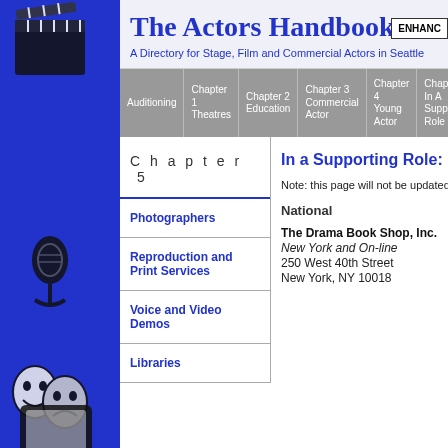The Actors Handbook
A Directory for Stage, Film and Commercial Actors in Seattle
| Auditioning | Chapter 1 Theatres | Chapter 2 Education | Chapter 3 Commercial Actor | Chapter 4 Young Actor | Chapter 5 In A Supporting Role | Ch 6 Pu |
| --- | --- | --- | --- | --- | --- | --- |
|  |
Chapter 5
Photographers
Reproduction and Print Services
Voice and Video Demos
Libraries
In a Supporting Role: B
Note: this page will not be updated a
National
The Drama Book Shop, Inc.
New York and On-line
250 West 40th Street
New York, NY 10018